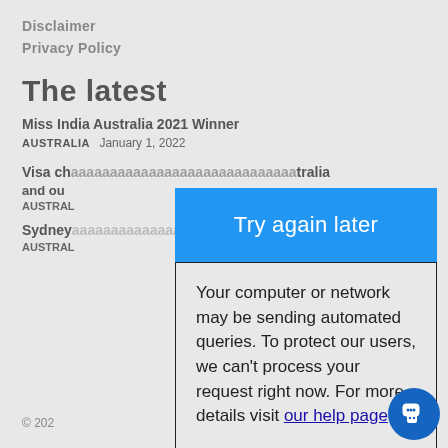Disclaimer
Privacy Policy
The latest
Miss India Australia 2021 Winner
AUSTRALIA  January 1, 2022
Visa ch...tralia and ou...
AUSTRAL
Sydney...ain
AUSTRAL
[Figure (screenshot): Browser error dialog with blue 'Try again later' button and message about automated queries, with link to help page. Bottom bar shows refresh icon, headset icon, and 'We're offline / Leave a message' popup. Blue chat button in lower right corner.]
© 202...